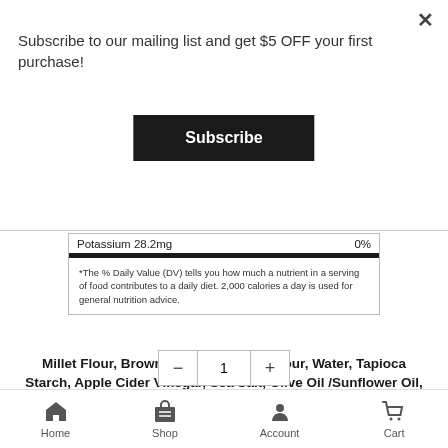Subscribe to our mailing list and get $5 OFF your first purchase!
Subscribe
| Potassium 28.2mg | 0% |
*The % Daily Value (DV) tells you how much a nutrient in a serving of food contributes to a daily diet. 2,000 calories a day is used for general nutrition advice.
Millet Flour, Brown Rice Flour, Rice Flour, Water, Tapioca Starch, Apple Cider Vinegar, Sea Salt, Olive Oil /Sunflower Oil, Aluminum Free Baking Powder (Sodium Acid Pyrophosphate, Sodium Bicarbonate, Potato Starch, Monocalcium Phosphate), Cultured Brown Rice Flour, Ascorbic acid.
Home  Shop  Account  Cart